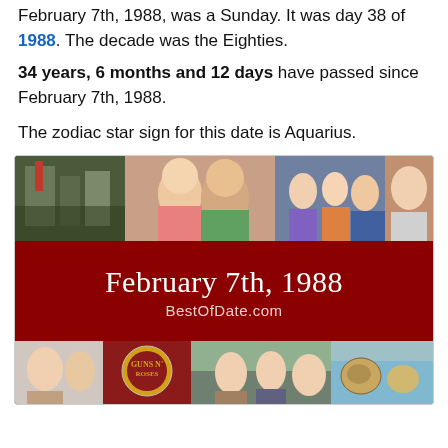February 7th, 1988, was a Sunday. It was day 38 of 1988. The decade was the Eighties.
34 years, 6 months and 12 days have passed since February 7th, 1988.
The zodiac star sign for this date is Aquarius.
[Figure (illustration): A composite image showing movie/TV stills from 1988 era, with a dark red banner in the center reading 'February 7th, 1988' and 'BestOfDate.com'. Top row shows scenes from films/shows of the era; bottom row shows additional movie posters and stills.]